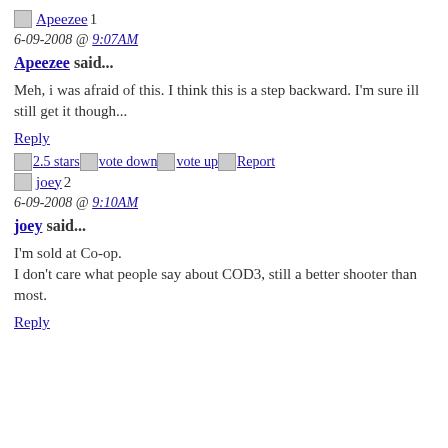[img]Apeezee1
6-09-2008 @ 9:07AM
Apeezee said...
Meh, i was afraid of this. I think this is a step backward. I'm sure ill still get it though...
Reply
[img]2.5 stars [img]vote down [img]vote up [img]Report
[img]joey2
6-09-2008 @ 9:10AM
joey said...
I'm sold at Co-op.
I don't care what people say about COD3, still a better shooter than most.
Reply